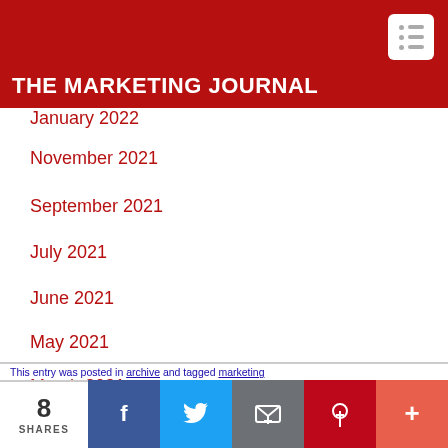THE MARKETING JOURNAL
January 2022
November 2021
September 2021
July 2021
June 2021
May 2021
March 2021
February 2021
January 2021
8 SHARES